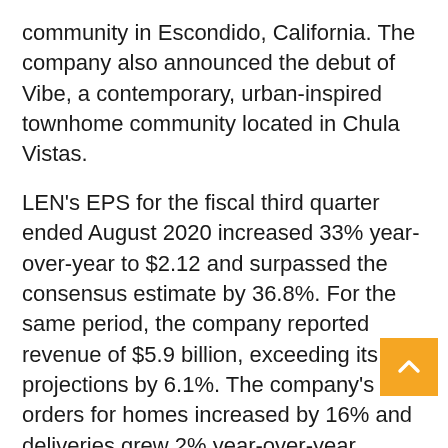community in Escondido, California. The company also announced the debut of Vibe, a contemporary, urban-inspired townhome community located in Chula Vistas.
LEN's EPS for the fiscal third quarter ended August 2020 increased 33% year-over-year to $2.12 and surpassed the consensus estimate by 36.8%. For the same period, the company reported revenue of $5.9 billion, exceeding its projections by 6.1%. The company's new orders for homes increased by 16% and deliveries grew 2% year-over-year.
The company's EPS is expected to grow 8[...] in the current quarter, 28.6% in the current fiscal year, and at a rate of 11.4% in the next